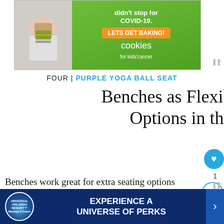[Figure (photo): Advertisement banner for 'cookies for kids cancer' with green background, orange 'LETS GET BAKING!' button, and image of person holding money on left side. Text partially visible: '...didn't stop for COVID-19.']
FOUR | PURPLE YOGA BALL SEAT
Benches as Flexible Seating Options in the Class
Benches work great for extra seating options students. Not only can they fit several students, but they also can be used for extra st... Check out some of my favorite classroom be... one to yo...
[Figure (screenshot): Bottom advertisement banner for Universal Orlando Resort Meetings & Events: 'EXPERIENCE A UNIVERSE OF PERKS' with blue background and Universal globe logo]